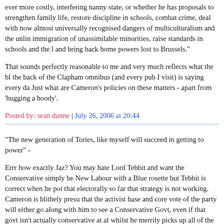ever more costly, interfering nanny state, or whether he has proposals to strengthen family life, restore discipline in schools, combat crime, deal with now almost universally recognised dangers of multiculturalism and the unlin immigration of unassimilable minorities, raise standards in schools and the l and bring back home powers lost to Brussels."
That sounds perfectly reasonable to me and very much reflects what the bl the back of the Clapham omnibus (and every pub I visit) is saying every da Just what are Cameron’s policies on these matters - apart from ‘hugging a hoody’.
Posted by: sean dunne | July 26, 2006 at 20:44
"The new generation of Tories, like myself will succeed in getting to power" -
Errr how exactly Jaz? You may hate Lord Tebbit and want the Conservative simply be New Labour with a Blue rosette but Tebbit is correct when he poi that electorally so far that strategy is not working. Cameron is blithely presu that the activist base and core vote of the party will either go along with him to see a Conservative Govt, even if that govt isn't actually conservative at al whilst he merrily picks up all of the floating voters and disillusioned New Lab ones. The electoral evidence so far is that that is just not happening and tha core vote are staying at home or voting UKIP or even, god help them, BNP. same time despite the opinion polls, which are not very accurate it would s